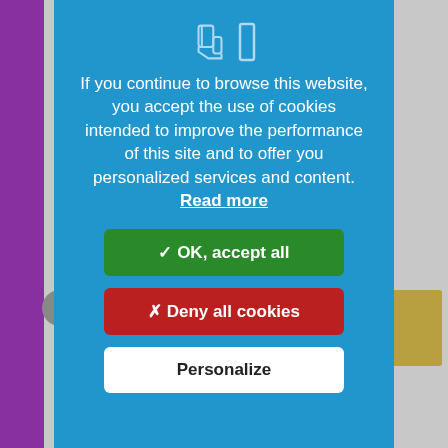[Figure (screenshot): Background website with purple left sidebar, gray content area, pink buttons, gold rectangle, and partial content visible behind the modal overlay.]
If you continue to browse this website, you accept the use of cookies intended to improve the performance of this site and to offer you personalized services and content. Read more
✓ OK, accept all
✗ Deny all cookies
Personalize